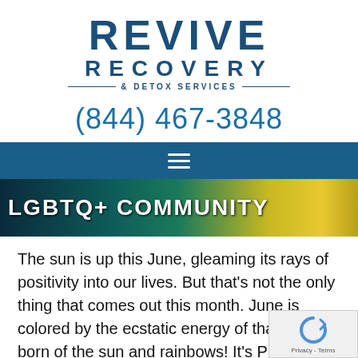[Figure (logo): Revive Recovery & Detox Services logo with blue text]
(844) 467-3848
[Figure (screenshot): Navigation bar with hamburger menu icon on blue background]
[Figure (photo): Banner image with text 'LGBTQ+ COMMUNITY' on dark teal and yellow painted background]
The sun is up this June, gleaming its rays of positivity into our lives. But that’s not the only thing that comes out this month. June is colored by the ecstatic energy of that which is born of the sun and rainbows! It’s Pride Month, a time to celebrate, love, and spotlight the LGBTQ+